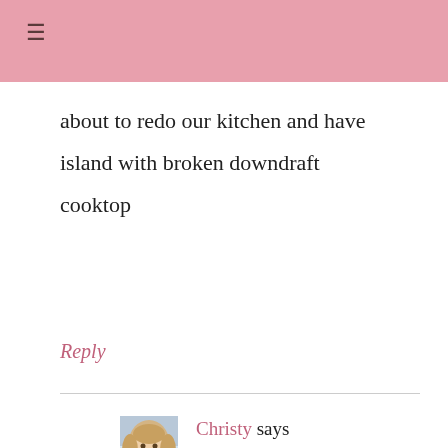≡
about to redo our kitchen and have island with broken downdraft cooktop
Reply
[Figure (photo): Avatar photo of Christy, a woman with blonde hair]
Christy says
July 16, 2015 at 11:51 am
Thanks so much, Susan. We really